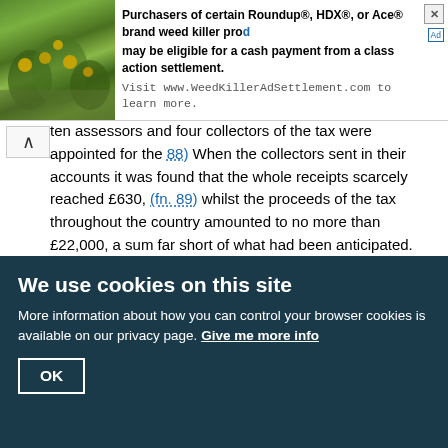[Figure (other): Advertisement banner: Purchasers of certain Roundup®, HDX®, or Ace® brand weed killer products may be eligible for a cash payment from a class action settlement. Visit www.WeedKillerAdSettlement.com to learn more. Contains a nature/plant background image on the left.]
ten assessors and four collectors of the tax were appointed for the 88) When the collectors sent in their accounts it was found that the whole receipts scarcely reached £630, (fn. 89) whilst the proceeds of the tax throughout the country amounted to no more than £22,000, a sum far short of what had been anticipated. (fn. 90)

In November of the next year (1380) a Parliament was summoned to meet at Northampton, the Duke of Lancaster being again responsible for the change from Westminster. (fn. 91) Money was more needed than ever, and once more recourse was had to a poll-tax. This time a tax of three groats, or one shilling, was imposed on every one over the age of fifteen excepting absolute beggars (forspris les verrois mendinantz), and the richer were to help the poorer. (fn. 92) Six Commissioners and two Comptrollers were appointed to levy the tax in the City, and the Aldermen were to see that the tax was paid by all who were liable in their respective Wards, and bring in the money so raised to the Guildhall by the 27th January (1381)—afterwards changed to the 6th February. (fn. 93) When the collectors came to render their account it was
We use cookies on this site
More information about how you can control your browser cookies is available on our privacy page. Give me more info
OK